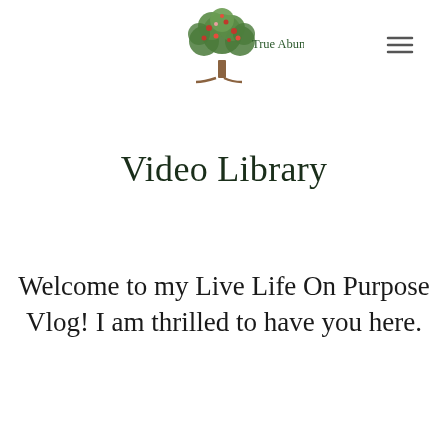[Figure (logo): True Abundance Advisors logo: a tree with green and red/pink foliage above a brown trunk and roots, with text 'True Abundance Advisors' to the right]
Video Library
Welcome to my Live Life On Purpose Vlog! I am thrilled to have you here.